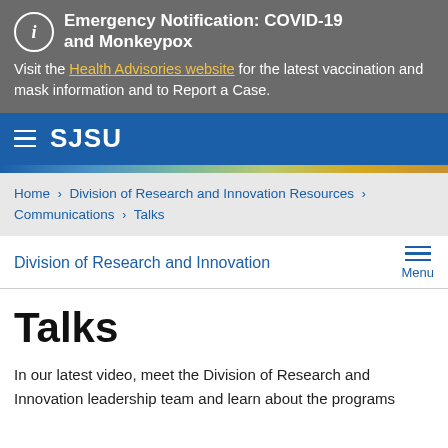Emergency Notification: COVID-19 and Monkeypox
Visit the Health Advisories website for the latest vaccination and mask information and to Report a Case.
[Figure (logo): SJSU navigation bar with hamburger menu and SJSU wordmark on blue background]
[Figure (infographic): Decorative color gradient stripe]
Home > Division of Research and Innovation Resources > Communications > Talks
Division of Research and Innovation
Talks
In our latest video, meet the Division of Research and Innovation leadership team and learn about the programs